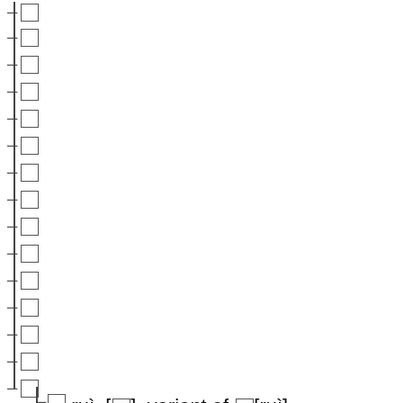□
□
□
□
□
□
□
□
□
□
□
□
□
□
□
□    ruì, [□], variant of □[ruì], astute/perspicacious/farsighted